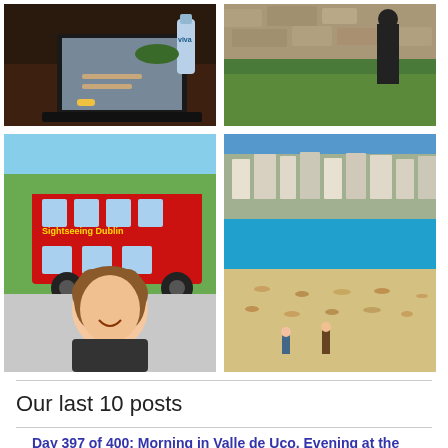[Figure (photo): Person working on a laptop at a desk, with a water bottle visible]
[Figure (photo): Person standing on grass near a stone wall]
[Figure (photo): Woman smiling in front of a red double-decker sightseeing bus in Dublin]
[Figure (photo): Crowded beach scene with buildings on hillside in background, likely Bondi Beach Australia]
Our last 10 posts
Day 397 of 400: Morning in Valle de Uco, Evening at the National Grape Harvest Festival – Argentina